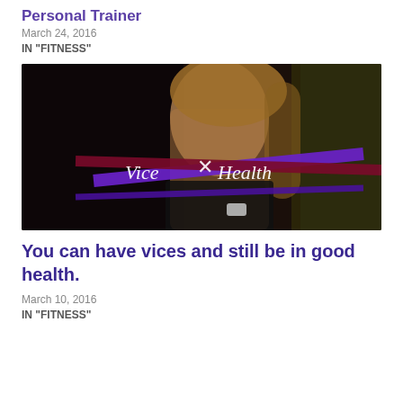Personal Trainer
March 24, 2016
IN "FITNESS"
[Figure (photo): Woman looking down, chin resting on hand, wearing a black tank top and watch. Overlaid with Vice X Health logo with purple and dark red horizontal bars forming a cross pattern.]
You can have vices and still be in good health.
March 10, 2016
IN "FITNESS"